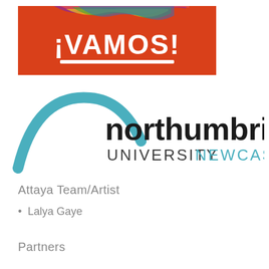[Figure (logo): iVamos! festival logo — red/orange background with colorful wavy stripes at top, white bold text '¡VAMOS!' with white underline bar]
[Figure (logo): Northumbria University Newcastle logo — teal arc swoosh on left, black sans-serif 'northumbria' text, 'UNIVERSITY' in dark grey and 'NEWCASTLE' in teal]
Attaya Team/Artist
Lalya Gaye
Partners